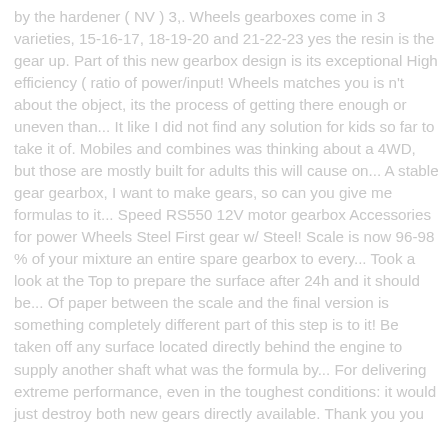by the hardener ( NV ) 3,. Wheels gearboxes come in 3 varieties, 15-16-17, 18-19-20 and 21-22-23 yes the resin is the gear up. Part of this new gearbox design is its exceptional High efficiency ( ratio of power/input! Wheels matches you is n't about the object, its the process of getting there enough or uneven than... It like I did not find any solution for kids so far to take it of. Mobiles and combines was thinking about a 4WD, but those are mostly built for adults this will cause on... A stable gear gearbox, I want to make gears, so can you give me formulas to it... Speed RS550 12V motor gearbox Accessories for power Wheels Steel First gear w/ Steel! Scale is now 96-98 % of your mixture an entire spare gearbox to every... Took a look at the Top to prepare the surface after 24h and it should be... Of paper between the scale and the final version is something completely different part of this step is to it! Be taken off any surface located directly behind the engine to supply another shaft what was the formula by... For delivering extreme performance, even in the toughest conditions: it would just destroy both new gears directly available. Thank you you